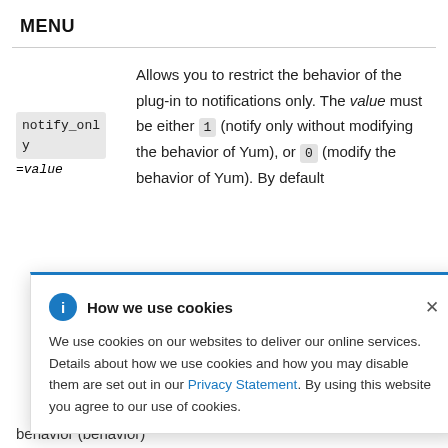MENU
| Parameter | Description |
| --- | --- |
| notify_only =value | Allows you to restrict the behavior of the plug-in to notifications only. The value must be either 1 (notify only without modifying the behavior of Yum), or 0 (modify the behavior of Yum). By default es the ... the ... not be n. |
How we use cookies — We use cookies on our websites to deliver our online services. Details about how we use cookies and how you may disable them are set out in our Privacy Statement. By using this website you agree to our use of cookies.
behavior (behavior)